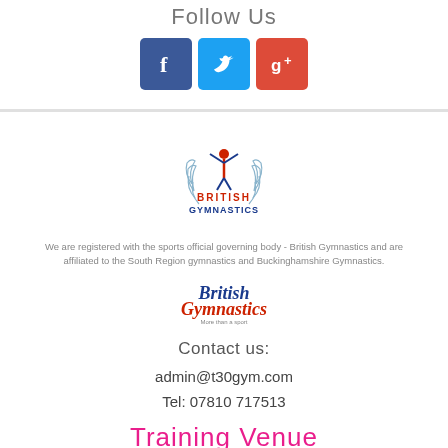Follow Us
[Figure (logo): Social media icons: Facebook (blue), Twitter (light blue), Google+ (red)]
[Figure (logo): British Gymnastics circular crest logo with laurel wreath]
We are registered with the sports official governing body - British Gymnastics and are affiliated to the South Region gymnastics and Buckinghamshire Gymnastics.
[Figure (logo): British Gymnastics text logo - More than a sport]
Contact us:
admin@t30gym.com
Tel: 07810 717513
Training Venue
Monday Friday Saturday
Beacon Sports Centre and Theatre